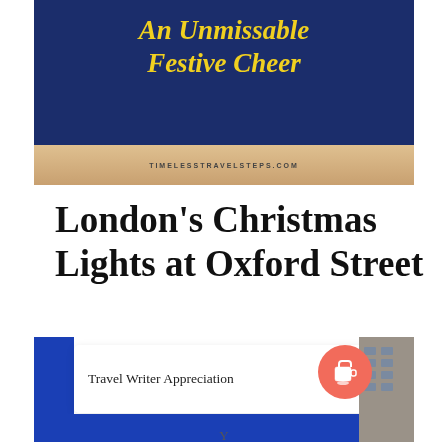[Figure (illustration): Decorative banner with dark navy background showing stylized script text 'An Unmissable Festive Cheer' in yellow, with a beige/tan gradient lower section showing the URL timelesstravelsteps.com]
London's Christmas Lights at Oxford Street
[Figure (illustration): Blue and white card showing 'Travel Writer Appreciation' text with a blue left border, partial building photo on right, coral/red coffee cup badge icon on far right, and blue lower bar]
Y